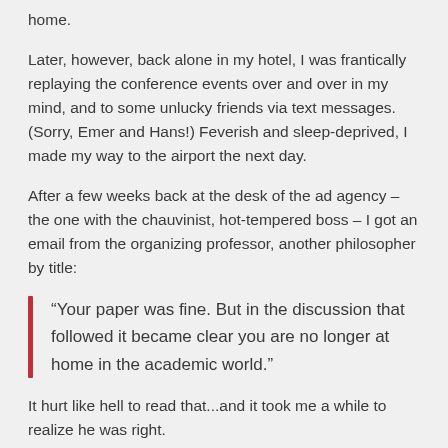home.
Later, however, back alone in my hotel, I was frantically replaying the conference events over and over in my mind, and to some unlucky friends via text messages. (Sorry, Emer and Hans!) Feverish and sleep-deprived, I made my way to the airport the next day.
After a few weeks back at the desk of the ad agency – the one with the chauvinist, hot-tempered boss – I got an email from the organizing professor, another philosopher by title:
“Your paper was fine. But in the discussion that followed it became clear you are no longer at home in the academic world.”
It hurt like hell to read that...and it took me a while to realize he was right.
That conference was seven years ago today. That year, 2015,